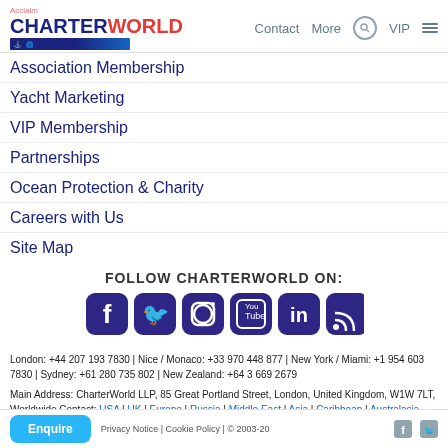CharterWorld | Contact | More | VIP
Association Membership
Yacht Marketing
VIP Membership
Partnerships
Ocean Protection & Charity
Careers with Us
Site Map
FOLLOW CHARTERWORLD ON:
[Figure (infographic): Social media icons: Facebook, Twitter, Instagram, YouTube, LinkedIn, RSS — all purple rounded square buttons]
London: +44 207 193 7830 | Nice / Monaco: +33 970 448 877 | New York / Miami: +1 954 603 7830 | Sydney: +61 280 735 802 | New Zealand: +64 3 669 2679
Main Address: CharterWorld LLP, 85 Great Portland Street, London, United Kingdom, W1W 7LT, Worldwide Contact: USA | UK | Europe | Russia | Middle East | Asia | Caribbean | Australasia
Enquire | Privacy Notice | Cookie Policy | © 2003-20